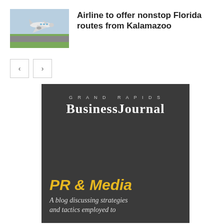[Figure (photo): Airplane taking off from runway with green field in background]
Airline to offer nonstop Florida routes from Kalamazoo
[Figure (other): Navigation previous and next arrow buttons]
[Figure (logo): Grand Rapids Business Journal PR & Media blog advertisement banner on dark background]
GRAND RAPIDS
BusinessJournal
PR & Media
A blog discussing strategies and tactics employed to